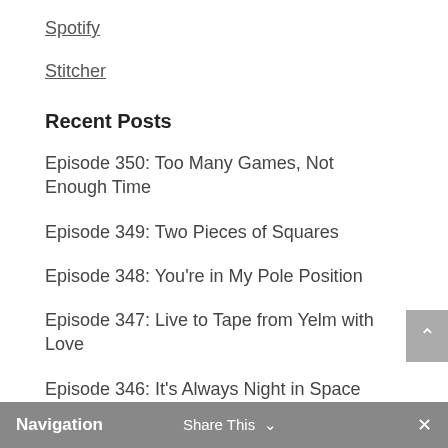Spotify
Stitcher
Recent Posts
Episode 350: Too Many Games, Not Enough Time
Episode 349: Two Pieces of Squares
Episode 348: You're in My Pole Position
Episode 347: Live to Tape from Yelm with Love
Episode 346: It's Always Night in Space
Navigation   Share This ∨   ×